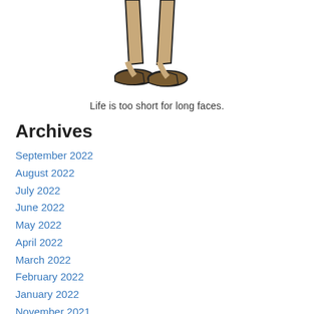[Figure (illustration): Illustration of the lower half of a person — legs and feet wearing flat brown shoes, skin-toned legs, cropped at the thighs]
Life is too short for long faces.
Archives
September 2022
August 2022
July 2022
June 2022
May 2022
April 2022
March 2022
February 2022
January 2022
November 2021
September 2021
May 2021